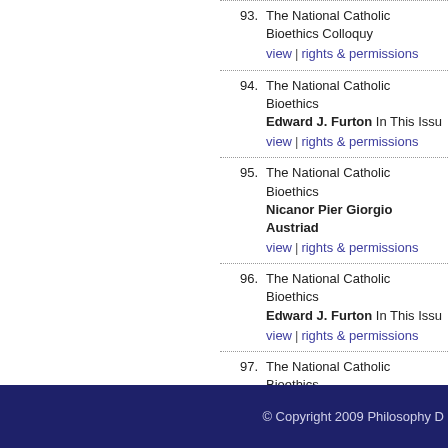93. The National Catholic Bioethics Colloquy
view | rights & permissions
94. The National Catholic Bioethics ... Edward J. Furton In This Issue
view | rights & permissions
95. The National Catholic Bioethics ... Nicanor Pier Giorgio Austriad...
view | rights & permissions
96. The National Catholic Bioethics ... Edward J. Furton In This Issue
view | rights & permissions
97. The National Catholic Bioethics ... Farr A. Curlin, Daniel P. Sulm...
view | rights & permissions
© Copyright 2009 Philosophy D